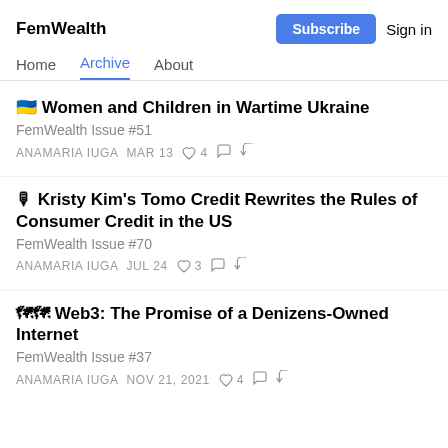FemWealth
Home | Archive | About
🇺🇦 Women and Children in Wartime Ukraine
FemWealth Issue #51
ANAMARIA IUGA   MAR 13   ♡ 4   💬   ↗
🎙 Kristy Kim's Tomo Credit Rewrites the Rules of Consumer Credit in the US
FemWealth Issue #70
ANAMARIA IUGA   JUL 24   ♡ 3   💬   ↗
🌐🌐 Web3: The Promise of a Denizens-Owned Internet
FemWealth Issue #37
ANAMARIA IUGA   NOV 21, 2021   ♡ 4   💬   ↗